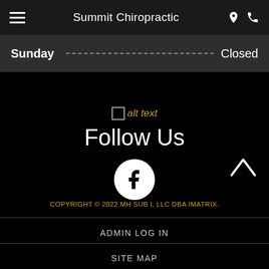Summit Chiropractic
| Day |  | Status |
| --- | --- | --- |
| Sunday | ... | Closed |
[Figure (other): Broken image placeholder with alt text label]
Follow Us
[Figure (logo): Facebook icon in white circle]
COPYRIGHT © 2022 MH SUB I, LLC DBA IMATRIX.
ADMIN LOG IN
SITE MAP